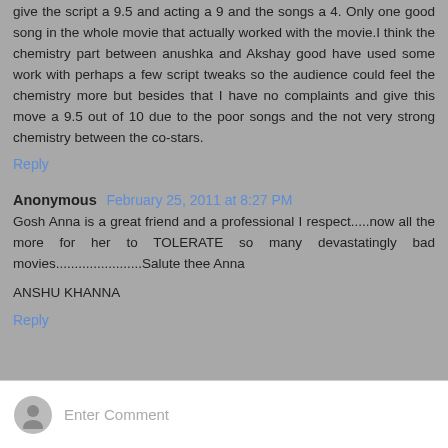give the script a 9.5 and acting a 9 and the songs a 4. Only one good song in the whole movie that actually worked with the movie.I think the chemistry part between anushka and Akshay good have used some work with perhaps a few script tweaks so the audience could feel the chemistry more but besides that I have no complaints and give this move a 9.5 out of 10 due to the poor songs and the not very strong chemistry between the co-stars.
Reply
Anonymous February 25, 2011 at 8:27 PM
Gosh Anna is a great friend and a professional I respect.....now all the more for her to TOLERATE so many devastatingly bad movies.......................Salute thee Anna
ANSHU KHANNA
Reply
Enter Comment